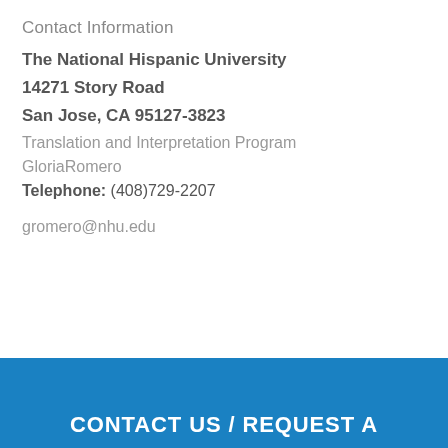Contact Information
The National Hispanic University
14271 Story Road
San Jose, CA 95127-3823
Translation and Interpretation Program
GloriaRomero
Telephone: (408)729-2207
gromero@nhu.edu
CONTACT US / REQUEST A